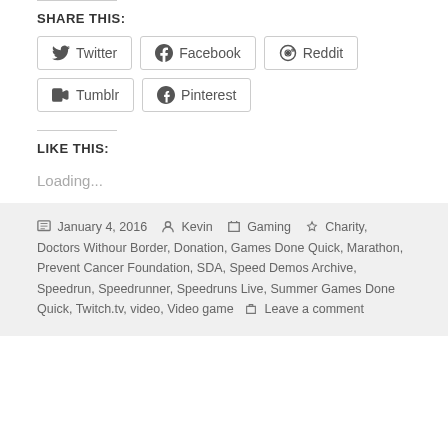SHARE THIS:
Twitter  Facebook  Reddit  Tumblr  Pinterest
LIKE THIS:
Loading...
January 4, 2016  Kevin  Gaming  Charity, Doctors Withour Border, Donation, Games Done Quick, Marathon, Prevent Cancer Foundation, SDA, Speed Demos Archive, Speedrun, Speedrunner, Speedruns Live, Summer Games Done Quick, Twitch.tv, video, Video game  Leave a comment